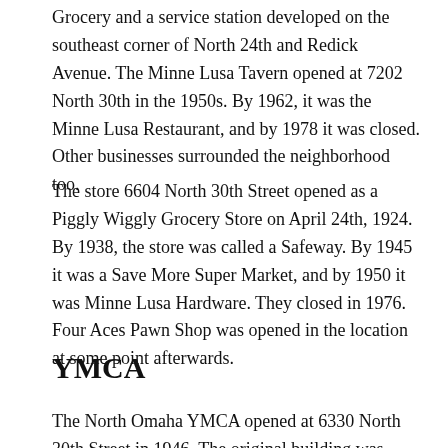Grocery and a service station developed on the southeast corner of North 24th and Redick Avenue. The Minne Lusa Tavern opened at 7202 North 30th in the 1950s. By 1962, it was the Minne Lusa Restaurant, and by 1978 it was closed. Other businesses surrounded the neighborhood too.
The store 6604 North 30th Street opened as a Piggly Wiggly Grocery Store on April 24th, 1924. By 1938, the store was called a Safeway. By 1945 it was a Save More Super Market, and by 1950 it was Minne Lusa Hardware. They closed in 1976. Four Aces Pawn Shop was opened in the location at some point afterwards.
YMCA
The North Omaha YMCA opened at 6330 North 30th Street in 1946. The original building was...